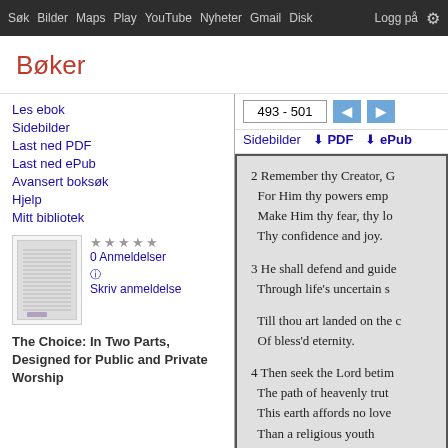Søk  Bilder  Maps  Play  YouTube  Nyheter  Gmail  Disk  Logg på  ⚙
Bøker
Les ebok
Sidebilder
Last ned PDF
Last ned ePub
Avansert boksøk
Hjelp
Mitt bibliotek
★★★★★
0 Anmeldelser ⓘ
Skriv anmeldelse
The Choice: In Two Parts, Designed for Public and Private Worship
493 - 501
Sidebilder   ⬇ PDF   ⬇ ePub
2 Remember thy Creator, G
For Him thy powers emp
Make Him thy fear, thy lo
Thy confidence and joy.

3 He shall defend and guide
Through life's uncertain s

Till thou art landed on the c
Of bless'd eternity.

4 Then seek the Lord betim
The path of heavenly trut
This earth affords no love
Than a religious youth